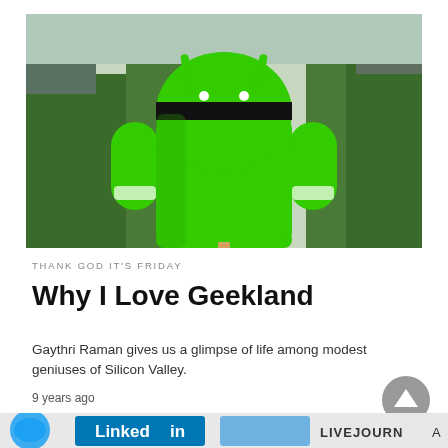[Figure (photo): Large green Android robot statue photographed up close against a backdrop of green hedges and trees. The robot is bright green with a cylindrical body, dome head, and short arm stubs visible on both sides.]
THANK GOD IT'S FRIDAY
Why I Love Geekland
Gaythri Raman gives us a glimpse of life among modest geniuses of Silicon Valley.
9 years ago
[Figure (photo): Bottom strip showing social media logos including Twitter, LinkedIn, and LiveJournal partially visible.]